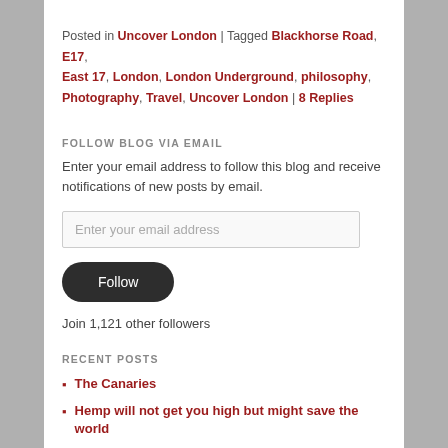Posted in Uncover London | Tagged Blackhorse Road, E17, East 17, London, London Underground, philosophy, Photography, Travel, Uncover London | 8 Replies
FOLLOW BLOG VIA EMAIL
Enter your email address to follow this blog and receive notifications of new posts by email.
Enter your email address
Follow
Join 1,121 other followers
RECENT POSTS
The Canaries
Hemp will not get you high but might save the world
The Art of Brasil, Part 2
Uncover London, Part 7: Pontoon Dock